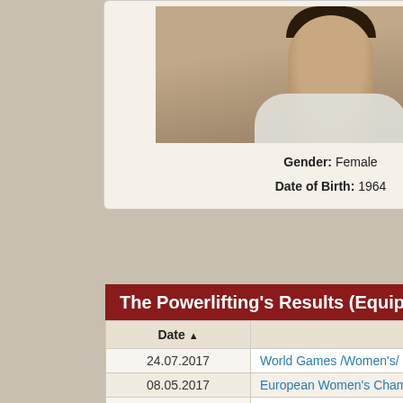[Figure (photo): Photo of a female powerlifter, cropped at chest level, wearing a white tank top]
Gender: Female
Date of Birth: 1964
| Year | Competition |
| --- | --- |
| 2012 | European Open Wo... |
| 2009 | World Games /Wome... |
| 2006 | 27th World Open Wo... |
| 2011 | 29th European Open ... |
The Powerlifting's Results (Equipped)
| Date ▲ | Competition's Title |  |
| --- | --- | --- |
| 24.07.2017 | World Games /Women's/ 2017 | Wroc |
| 08.05.2017 | European Women's Championships | Mala |
| 14.11.2016 | World Open Women's Championships | Orla |
| 11.05.2016 | European Open Women's Championships | Pilse |
| 02.05.2015 | European Open Women's Championships | Cher |
| 05.05.2012 | European Open Women's Championships | Mariu |
| 05.11.2011 | World Open Women's Championships | Pilse |
| 03.05.2011 | 29th European Open Women's Championships | Pilse |
| 27.09.2010 | 19th World Masters Women's Championships | Pilse |
| 24.07.2009 | World Games /Women's/ 2009 | Kaoh |
| 02.11.2008 | 29th World Open Women's Championships | St.Jo |
| 14.10.2007 | 28th World Open Women's Championships | Soel |
| 05.11.2006 | 27th World Open Women's Championships | Stav |